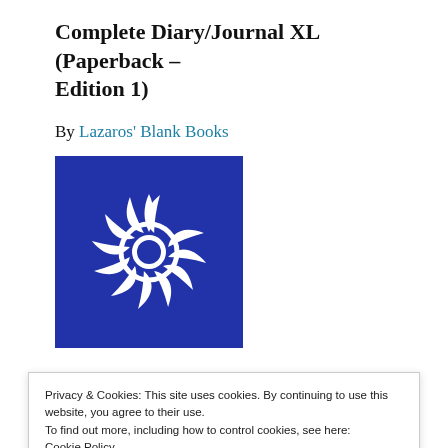Complete Diary/Journal XL (Paperback – Edition 1)
By Lazaros' Blank Books
[Figure (illustration): Blue square book cover with a white stylized sun/spiral logo in the center.]
Privacy & Cookies: This site uses cookies. By continuing to use this website, you agree to their use.
To find out more, including how to control cookies, see here: Cookie Policy
Close and accept